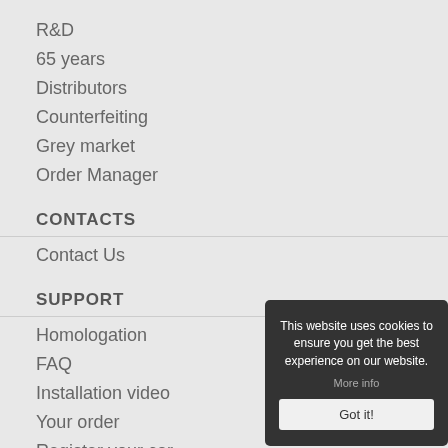R&D
65 years
Distributors
Counterfeiting
Grey market
Order Manager
CONTACTS
Contact Us
SUPPORT
Homologation
FAQ
Installation video
Your order
Register your car
Newsletter
SOCIAL
[Figure (other): Social media icons: Facebook, Twitter, YouTube, Instagram]
LEOVINCE APP
This website uses cookies to ensure you get the best experience on our website. More info Got it!